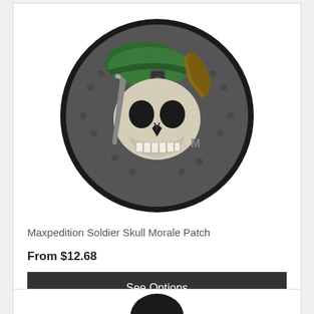[Figure (photo): Circular PVC morale patch featuring a soldier skull design with a green beret and tactical gear on a dark background with skull pattern border. Maxpedition brand patch.]
Maxpedition Soldier Skull Morale Patch
From $12.68
See Options
[Figure (photo): Partial view of another product at bottom of page (cropped)]